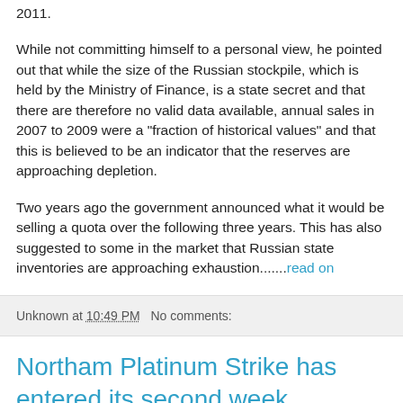2011.
While not committing himself to a personal view, he pointed out that while the size of the Russian stockpile, which is held by the Ministry of Finance, is a state secret and that there are therefore no valid data available, annual sales in 2007 to 2009 were a "fraction of historical values" and that this is believed to be an indicator that the reserves are approaching depletion.
Two years ago the government announced what it would be selling a quota over the following three years. This has also suggested to some in the market that Russian state inventories are approaching exhaustion.......read on
Unknown at 10:49 PM   No comments:
Northam Platinum Strike has entered its second week